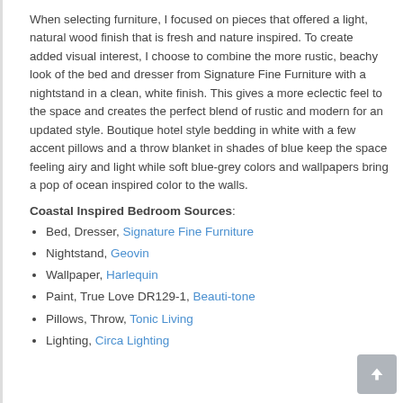When selecting furniture, I focused on pieces that offered a light, natural wood finish that is fresh and nature inspired. To create added visual interest, I choose to combine the more rustic, beachy look of the bed and dresser from Signature Fine Furniture with a nightstand in a clean, white finish. This gives a more eclectic feel to the space and creates the perfect blend of rustic and modern for an updated style. Boutique hotel style bedding in white with a few accent pillows and a throw blanket in shades of blue keep the space feeling airy and light while soft blue-grey colors and wallpapers bring a pop of ocean inspired color to the walls.
Coastal Inspired Bedroom Sources:
Bed, Dresser, Signature Fine Furniture
Nightstand, Geovin
Wallpaper, Harlequin
Paint, True Love DR129-1, Beauti-tone
Pillows, Throw, Tonic Living
Lighting, Circa Lighting